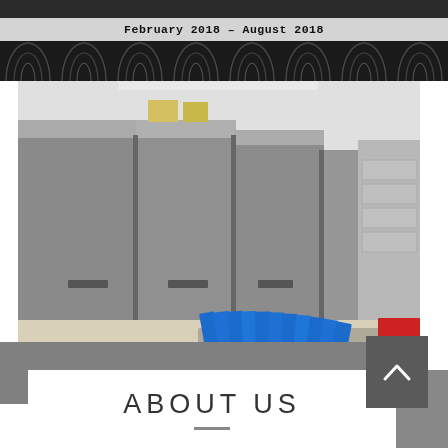February 2018 – August 2018
[Figure (photo): Interior photo of a large printing/mailing facility showing rows of gray industrial machines with blue and red booklets/mailers on a conveyor tray in the foreground]
ABOUT US